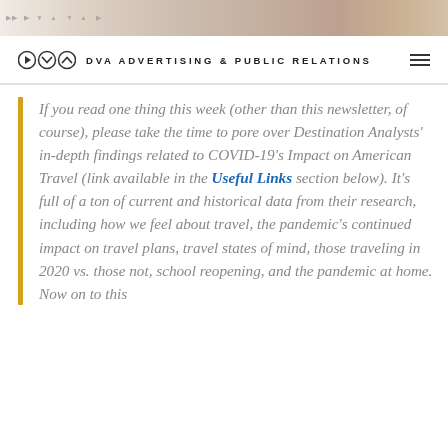[Figure (photo): Top banner image strip showing a collage of travel-related imagery in muted tones]
DVA ADVERTISING & PUBLIC RELATIONS
If you read one thing this week (other than this newsletter, of course), please take the time to pore over Destination Analysts' in-depth findings related to COVID-19's Impact on American Travel (link available in the Useful Links section below). It's full of a ton of current and historical data from their research, including how we feel about travel, the pandemic's continued impact on travel plans, travel states of mind, those traveling in 2020 vs. those not, school reopening, and the pandemic at home. Now on to this